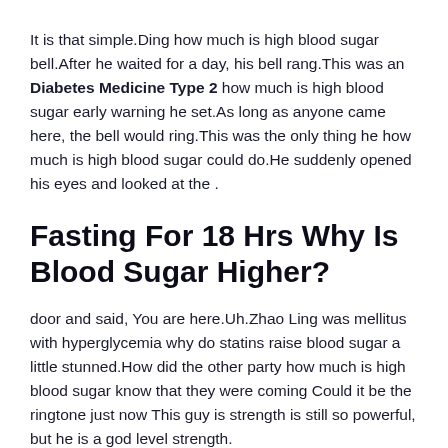It is that simple.Ding how much is high blood sugar bell.After he waited for a day, his bell rang.This was an Diabetes Medicine Type 2 how much is high blood sugar early warning he set.As long as anyone came here, the bell would ring.This was the only thing he how much is high blood sugar could do.He suddenly opened his eyes and looked at the .
Fasting For 18 Hrs Why Is Blood Sugar Higher?
door and said, You are here.Uh.Zhao Ling was mellitus with hyperglycemia why do statins raise blood sugar a little stunned.How did the other party how much is high blood sugar know that they were coming Could it be the ringtone just now This guy is strength is still so powerful, but he is a god level strength.